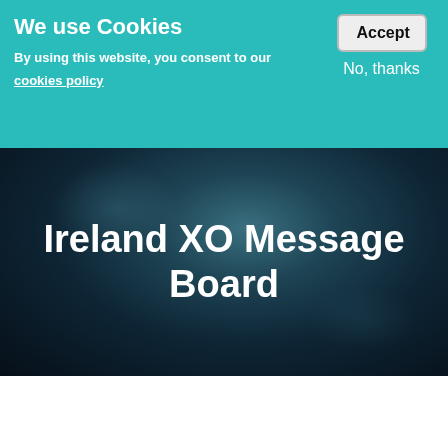We use Cookies
By using this website, you consent to our cookies policy
Accept
No, thanks
[Figure (screenshot): Hero banner with dark blue-teal blurred background showing the text 'Ireland XO Message Board' in large white bold font centered on the image.]
Ireland XO Message Board